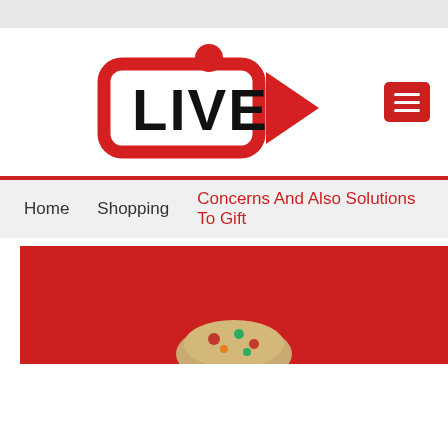[Figure (logo): LIVE streaming logo with camera icon in red and black, text LIVE in bold black]
[Figure (other): Red hamburger menu button with three white horizontal lines]
Home   Shopping   Concerns And Also Solutions To Gift
[Figure (photo): Red banner background with partially visible food item at bottom center]